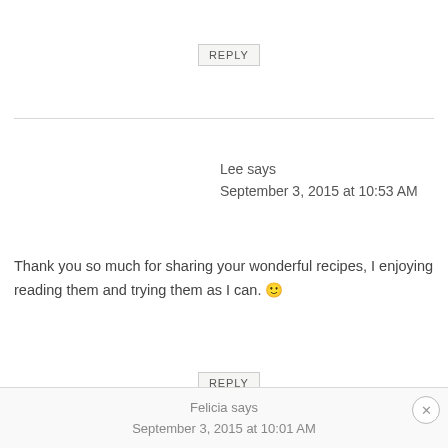REPLY
Lee says
September 3, 2015 at 10:53 AM
Thank you so much for sharing your wonderful recipes, I enjoying reading them and trying them as I can. 🙂
REPLY
Felicia says
September 3, 2015 at 10:01 AM